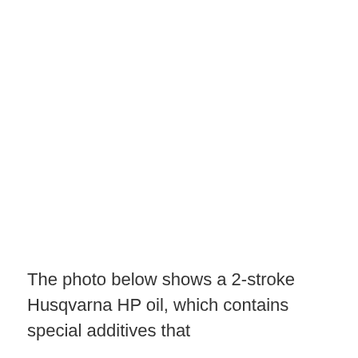The photo below shows a 2-stroke Husqvarna HP oil, which contains special additives that